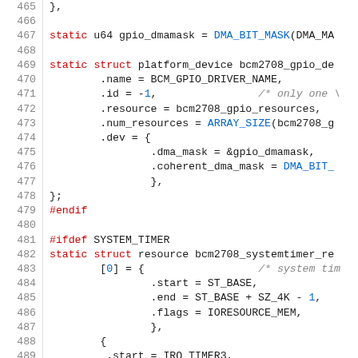[Figure (screenshot): Source code listing showing C code for Linux kernel BCM2708 GPIO and system timer platform device initialization, lines 465-495]